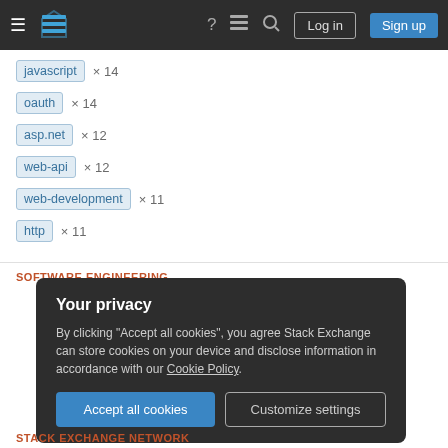[Figure (screenshot): Stack Exchange navigation bar with hamburger menu, logo, help icon, chat icon, search icon, Log in and Sign up buttons on dark background]
javascript × 14
oauth × 14
asp.net × 12
web-api × 12
web-development × 11
http × 11
SOFTWARE ENGINEERING
Your privacy
By clicking "Accept all cookies", you agree Stack Exchange can store cookies on your device and disclose information in accordance with our Cookie Policy.
Accept all cookies   Customize settings
STACK EXCHANGE NETWORK